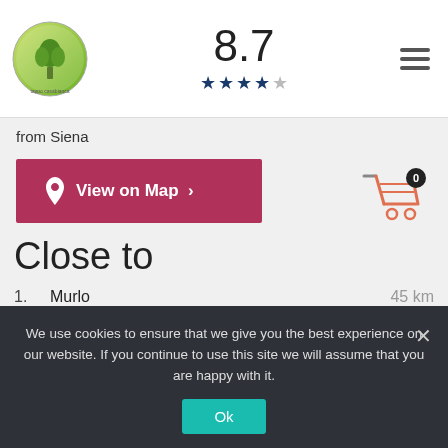[Figure (logo): Tappo Casabianca circular logo with green tree icon]
8.7
[Figure (other): 4 filled dark blue stars and 1 empty star rating]
[Figure (other): Hamburger menu icon (three horizontal lines)]
from Siena
View on Map >
[Figure (other): Shopping cart icon with badge showing 0]
Close to
1.  Murlo  45 km
2.  Montalcino  50 km
3.  Firenze  70 km
We use cookies to ensure that we give you the best experience on our website. If you continue to use this site we will assume that you are happy with it.
Ok